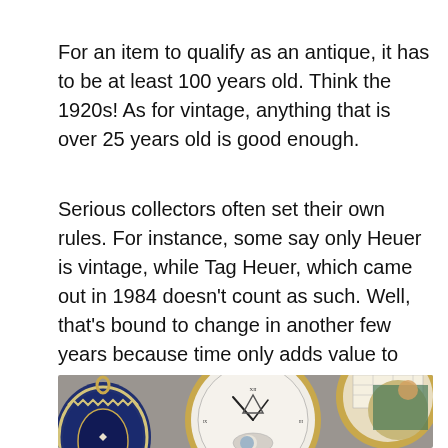For an item to qualify as an antique, it has to be at least 100 years old. Think the 1920s! As for vintage, anything that is over 25 years old is good enough.
Serious collectors often set their own rules. For instance, some say only Heuer is vintage, while Tag Heuer, which came out in 1984 doesn't count as such. Well, that's bound to change in another few years because time only adds value to vintage and antique pieces.
[Figure (photo): Photograph of several ornate antique pocket watches with decorative faces, including one with blue enamel and pearl decoration, one with a moon phase complication, and one with a painted miniature scene, all with gold cases on a gray background.]